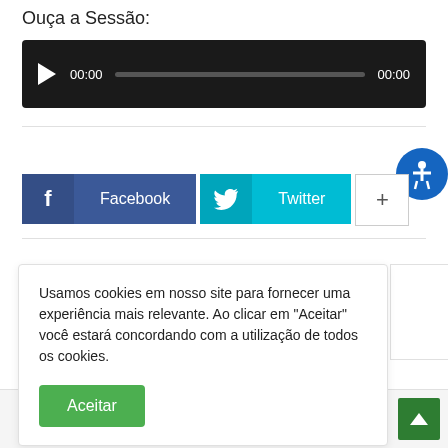Ouça a Sessão:
[Figure (screenshot): Audio player with dark background, play button, time display 00:00, progress bar, and end time 00:00]
[Figure (screenshot): Social sharing buttons: Facebook (dark blue), Twitter (cyan), and a plus (+) button. Accessibility icon (blue circle with hand) on the right.]
Usamos cookies em nosso site para fornecer uma experiência mais relevante. Ao clicar em "Aceitar" você estará concordando com a utilização de todos os cookies.
Aceitar
Próximo artigo
o Online: Sessão o dia 14/05/2018
rdinária do
[Figure (logo): Terenos logo at bottom left]
30/08/2022